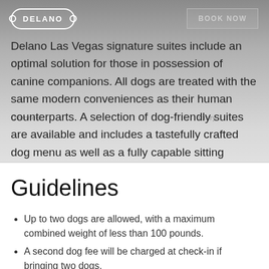[Figure (logo): Delano hotel logo with bone icon inside rounded rectangle border, white text on grey background, and BOOK NOW button top right]
Delano Las Vegas signature suites include an optimal solution for those in possession of canine companions. All dogs are treated with the same modern conveniences as their human counterparts. A selection of dog-friendly suites are available and includes a tastefully crafted dog menu as well as a fully capable sitting service.
Guidelines
Up to two dogs are allowed, with a maximum combined weight of less than 100 pounds.
A second dog fee will be charged at check-in if bringing two dogs.